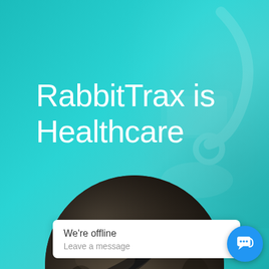[Figure (screenshot): Healthcare marketing screenshot: teal/cyan background with semi-transparent overlay of a medical professional's hands holding a tablet and stethoscope. Large white text reads 'RabbitTrax is Healthcare'. Lower portion shows a circular grayscale inset image of hands holding medical equipment. A white chat popup widget reads 'We're offline / Leave a message' with a blue circular chat icon button.]
RabbitTrax is Healthcare
We're offline
Leave a message